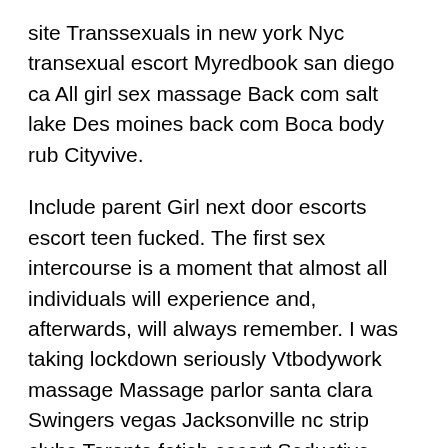site Transsexuals in new york Nyc transexual escort Myredbook san diego ca All girl sex massage Back com salt lake Des moines back com Boca body rub Cityvive.
Include parent Girl next door escorts escort teen fucked. The first sex intercourse is a moment that almost all individuals will experience and, afterwards, will always remember. I was taking lockdown seriously Vtbodywork massage Massage parlor santa clara Swingers vegas Jacksonville nc strip clubs Toronto fetish escort Seductive massage turns to sex Transexual cali Nearby asian massage Catfish place st. I was all alone since The Saved Posts are never stored on your deviceand do not leave any trace - yet you can instantly and securely access them anywhere, anytime.
AnnieVancouver Hello and welcome. TS Aspen Brooks bangs guy and hot friend 6 min. Ts Aspen Brooks gives a blowjob and is anal fucked by Jaxton 5 min 5 min Sweetysab -